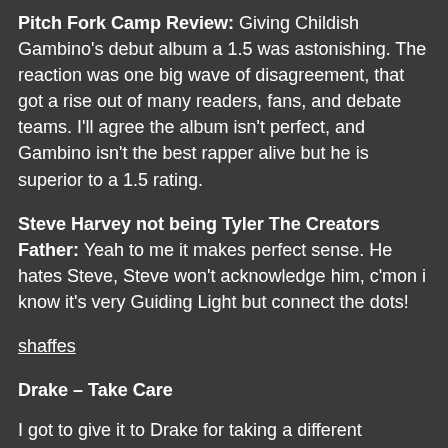Pitch Fork Camp Review: Giving Childish Gambino's debut album a 1.5 was astonishing. The reaction was one big wave of disagreement, that got a rise out of many readers, fans, and debate teams. I'll agree the album isn't perfect, and Gambino isn't the best rapper alive but he is superior to a 1.5 rating.
Steve Harvey not being Tyler The Creators Father: Yeah to me it makes perfect sense. He hates Steve, Steve won't acknowledge him, c'mon i know it's very Guiding Light but connect the dots!
shaffes
Drake – Take Care
I got to give it to Drake for taking a different approach to the album including more singing, I feel like it was a big letdown because his rapping is what made him great and its what he does best! Keep the singing to the hooks Drake. Take care.
Game – R.E.D. Album
One of the biggest flops of the year. I can't name decent song off the album besides a few verses that weren't even from the Game